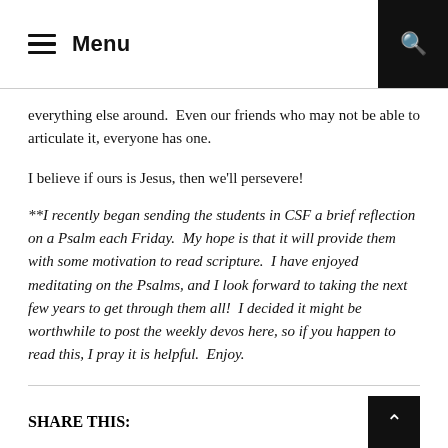Menu
everything else around.  Even our friends who may not be able to articulate it, everyone has one.
I believe if ours is Jesus, then we'll persevere!
**I recently began sending the students in CSF a brief reflection on a Psalm each Friday.  My hope is that it will provide them with some motivation to read scripture.  I have enjoyed meditating on the Psalms, and I look forward to taking the next few years to get through them all!  I decided it might be worthwhile to post the weekly devos here, so if you happen to read this, I pray it is helpful.  Enjoy.
SHARE THIS: